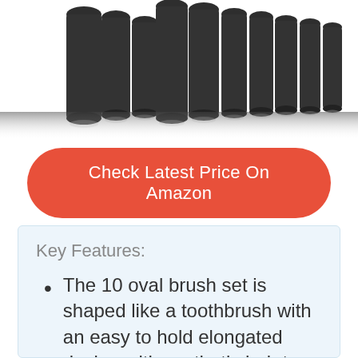[Figure (photo): Top portion of a set of black oval brushes with elongated handles arranged in a row, shown against a white background with reflections at the base.]
Check Latest Price On Amazon
Key Features:
The 10 oval brush set is shaped like a toothbrush with an easy to hold elongated design with synthetic hair to pick up more